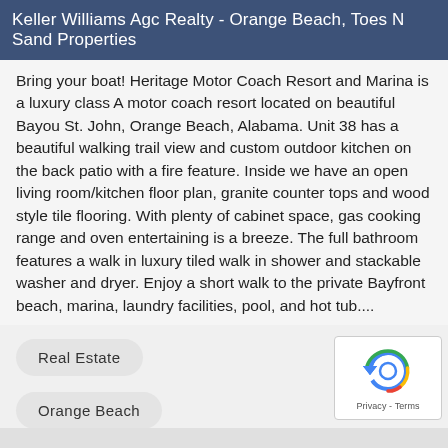Keller Williams Agc Realty - Orange Beach, Toes N Sand Properties
Bring your boat! Heritage Motor Coach Resort and Marina is a luxury class A motor coach resort located on beautiful Bayou St. John, Orange Beach, Alabama. Unit 38 has a beautiful walking trail view and custom outdoor kitchen on the back patio with a fire feature. Inside we have an open living room/kitchen floor plan, granite counter tops and wood style tile flooring. With plenty of cabinet space, gas cooking range and oven entertaining is a breeze. The full bathroom features a walk in luxury tiled walk in shower and stackable washer and dryer. Enjoy a short walk to the private Bayfront beach, marina, laundry facilities, pool, and hot tub....
Real Estate
Orange Beach
+ 2 more